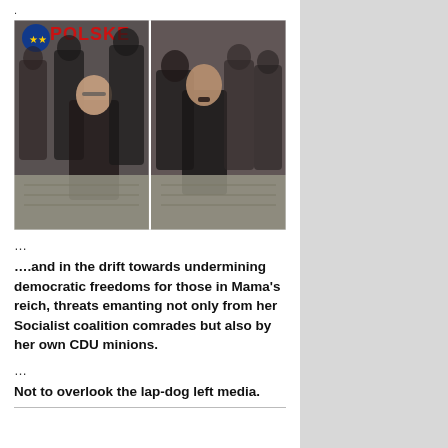.
[Figure (photo): Two side-by-side photos showing political figures dressed in Nazi-era military uniforms looking at maps, with red text 'POLSKE' visible at top left of the composite image.]
…
….and in the drift towards undermining democratic freedoms for those in Mama's reich, threats emanting not only from her Socialist coalition comrades but also by her own CDU minions.
…
Not to overlook the lap-dog left media.